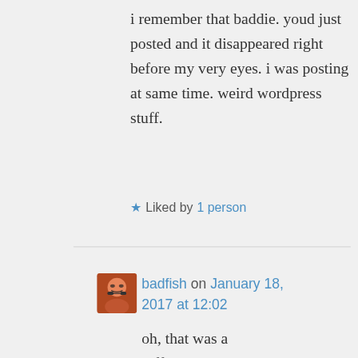i remember that baddie. youd just posted and it disappeared right before my very eyes. i was posting at same time. weird wordpress stuff.
★ Liked by 1 person
badfish on January 18, 2017 at 12:02
oh, that was a different time. that